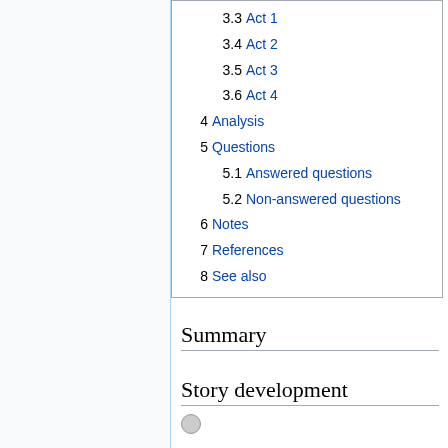3.3 Act 1
3.4 Act 2
3.5 Act 3
3.6 Act 4
4 Analysis
5 Questions
5.1 Answered questions
5.2 Non-answered questions
6 Notes
7 References
8 See also
Summary
Story development
Story
Previously